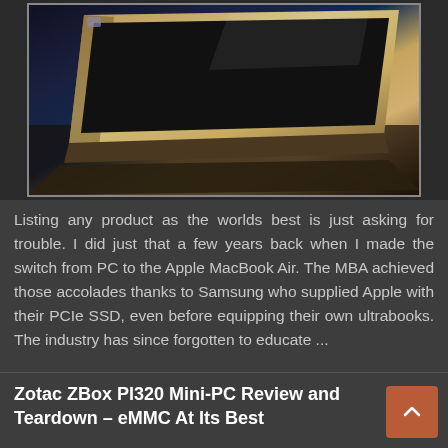[Figure (photo): Close-up photo of a gold/champagne colored laptop (MacBook Air style) on a dark surface, lid partially open, showing the back and hinge]
Listing any product as the worlds best is just asking for trouble.  I did just that a few years back when I made the switch from PC to the Apple MacBook Air. The MBA achieved those accolades thanks to Samsung who supplied Apple with their PCIe SSD, even before equipping their own ultrabooks.  The industry has since forgotten to educate ...
Zotac ZBox PI320 Mini-PC Review and Teardown – eMMC At Its Best